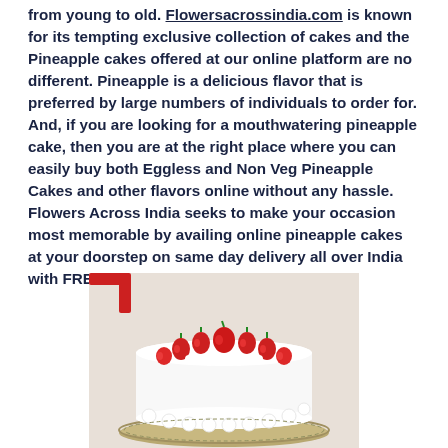from young to old. Flowersacrossindia.com is known for its tempting exclusive collection of cakes and the Pineapple cakes offered at our online platform are no different. Pineapple is a delicious flavor that is preferred by large numbers of individuals to order for. And, if you are looking for a mouthwatering pineapple cake, then you are at the right place where you can easily buy both Eggless and Non Veg Pineapple Cakes and other flavors online without any hassle. Flowers Across India seeks to make your occasion most memorable by availing online pineapple cakes at your doorstep on same day delivery all over India with FREE SHIPPING.
[Figure (photo): A white cream cake decorated with fresh strawberries on top, placed on a decorative silver plate, with a red ribbon visible in the background.]